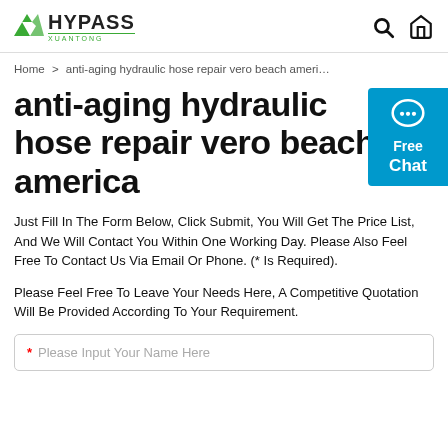HYPASS XUANTONG
Home > anti-aging hydraulic hose repair vero beach ameri…
anti-aging hydraulic hose repair vero beach america
Just Fill In The Form Below, Click Submit, You Will Get The Price List, And We Will Contact You Within One Working Day. Please Also Feel Free To Contact Us Via Email Or Phone. (* Is Required).
Please Feel Free To Leave Your Needs Here, A Competitive Quotation Will Be Provided According To Your Requirement.
* Please Input Your Name Here